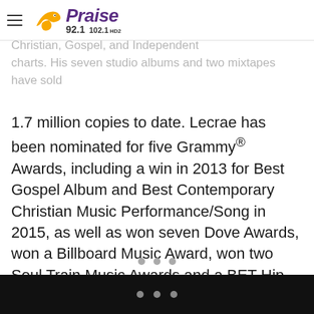Praise 92.1 / 102.1 HD2
whose 2014 album, Anomaly, debuted at #1 on the Billboard Christian, Gospel, and Independent charts. His seven studio albums and two mixtapes have sold 1.7 million copies to date. Lecrae has been nominated for five Grammy® Awards, including a win in 2013 for Best Gospel Album and Best Contemporary Christian Music Performance/Song in 2015, as well as won seven Dove Awards, won a Billboard Music Award, won two Soul Train Music Awards and a BET Hip Hop Awards nomination. Lecrae resides in Atlanta, Georgia with his wife and three children.